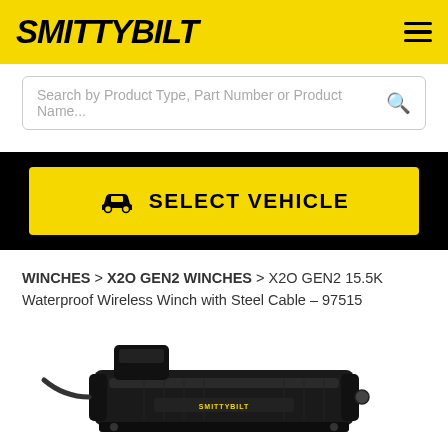SMITTYBILT
Search by Product Type, Part Number or Product Name...
SELECT VEHICLE
WINCHES > X2O GEN2 WINCHES > X2O GEN2 15.5K Waterproof Wireless Winch with Steel Cable – 97515
[Figure (photo): Smittybilt X2O GEN2 15.5K waterproof wireless winch with steel cable, product photo showing the winch unit from above against white background]